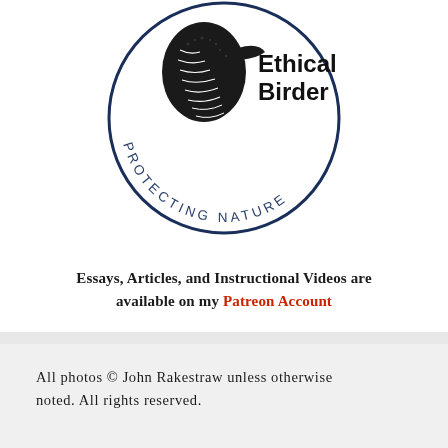[Figure (logo): Ethical Birder circular logo with a bird illustration and curved text reading 'PROTECTING NATURE']
Essays, Articles, and Instructional Videos are available on my Patreon Account
All photos © John Rakestraw unless otherwise noted. All rights reserved.